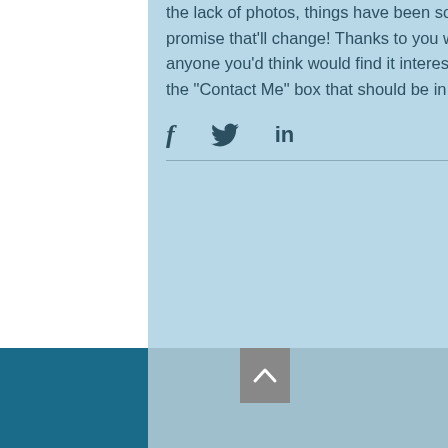the lack of photos, things have been so crazy I haven't even gotten my camera out yet, I promise that'll change! Thanks to you who are reading! Please give it a thumbs up, or share with anyone you'd think would find it interesting! If you'd like to ask me anything feel free to do so in the "Contact Me" box that should be in the bottom right of the screen.
[Figure (screenshot): Social share icons: Facebook (f), Twitter (bird), LinkedIn (in)]
19 ♥
[Figure (photo): Night sky photo with stars and tree silhouette on the right side]
[Figure (screenshot): Back to top button (chevron up arrow on grey background)]